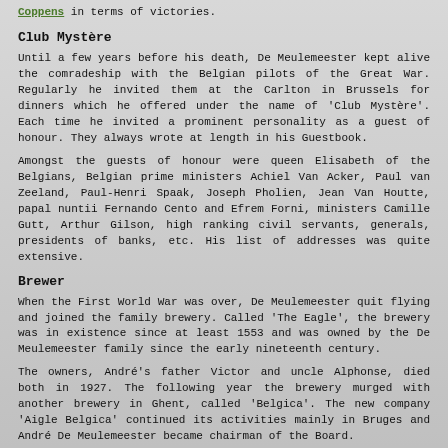Coppens in terms of victories.
Club Mystère
Until a few years before his death, De Meulemeester kept alive the comradeship with the Belgian pilots of the Great War. Regularly he invited them at the Carlton in Brussels for dinners which he offered under the name of 'Club Mystère'. Each time he invited a prominent personality as a guest of honour. They always wrote at length in his Guestbook.
Amongst the guests of honour were queen Elisabeth of the Belgians, Belgian prime ministers Achiel Van Acker, Paul van Zeeland, Paul-Henri Spaak, Joseph Pholien, Jean Van Houtte, papal nuntii Fernando Cento and Efrem Forni, ministers Camille Gutt, Arthur Gilson, high ranking civil servants, generals, presidents of banks, etc. His list of addresses was quite extensive.
Brewer
When the First World War was over, De Meulemeester quit flying and joined the family brewery. Called 'The Eagle', the brewery was in existence since at least 1553 and was owned by the De Meulemeester family since the early nineteenth century.
The owners, André's father Victor and uncle Alphonse, died both in 1927. The following year the brewery murged with another brewery in Ghent, called 'Belgica'. The new company 'Aigle Belgica' continued its activities mainly in Bruges and André De Meulemeester became chairman of the Board.
Many years later, after his death, the brewery was absorbed by the Belgian brewer Jupiler, soon to merge with Artois into Interbrew, now part of the multinational Inb...